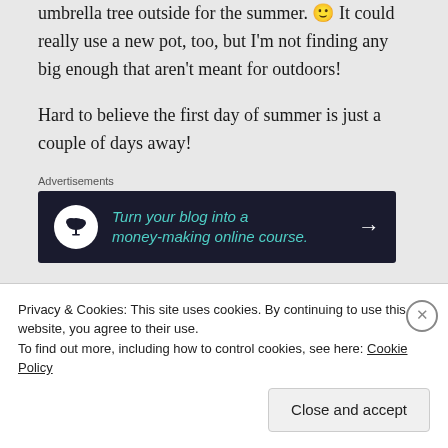umbrella tree outside for the summer. 🙂 It could really use a new pot, too, but I'm not finding any big enough that aren't meant for outdoors!
Hard to believe the first day of summer is just a couple of days away!
[Figure (infographic): Advertisement banner with dark navy background, bonsai tree icon in white circle, teal italic text reading 'Turn your blog into a money-making online course.' with white arrow pointing right]
The Re-Farmer
Privacy & Cookies: This site uses cookies. By continuing to use this website, you agree to their use.
To find out more, including how to control cookies, see here: Cookie Policy
Close and accept